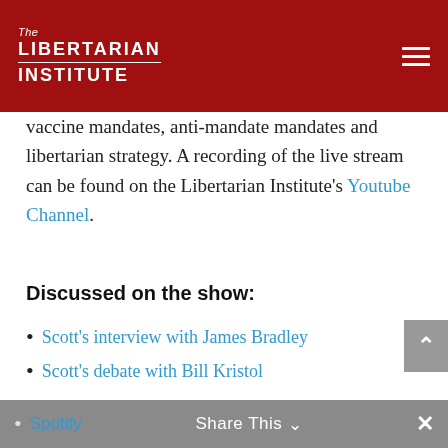The Libertarian Institute
vaccine mandates, anti-mandate mandates and libertarian strategy. A recording of the live stream can be found on the Libertarian Institute's Youtube Channel.
Discussed on the show:
Scott's interview with James Bradley
Scott's debate with Bill Kristol
Podcast Feeds:
iTunes
Spotify
Amazon